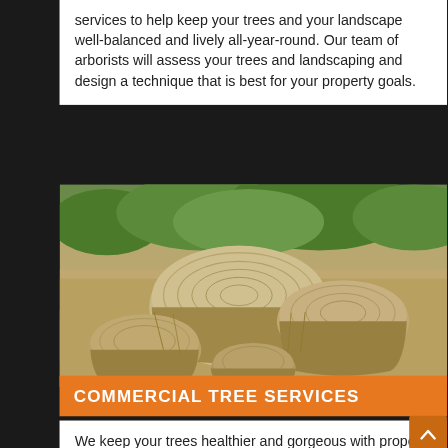services to help keep your trees and your landscape well-balanced and lively all-year-round. Our team of arborists will assess your trees and landscaping and design a technique that is best for your property goals.
[Figure (photo): Photograph of several large tree stumps arranged outdoors on sandy/dirt ground with green foliage and bushes in the background]
COMMERCIAL TREE SERVICES
We keep your trees healthier and gorgeous with proper tree care upkeep. Your well-